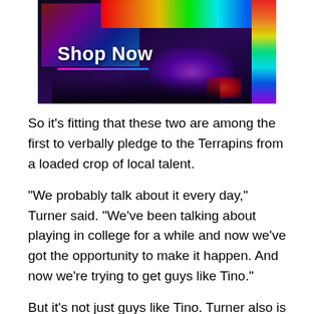[Figure (photo): A gaming PC setup with RGB lighting and keyboard, with 'Shop Now' text overlay and a pink/blue gradient underline, displayed as an advertisement banner]
So it's fitting that these two are among the first to verbally pledge to the Terrapins from a loaded crop of local talent.
"We probably talk about it every day," Turner said. "We've been talking about playing in college for a while and now we've got the opportunity to make it happen. And now we're trying to get guys like Tino."
But it's not just guys like Tino. Turner also is close with Bullis' Dwayne Haskins, Avalon's Trevon Diggs and Landon's Keith Simms. Those three are among the